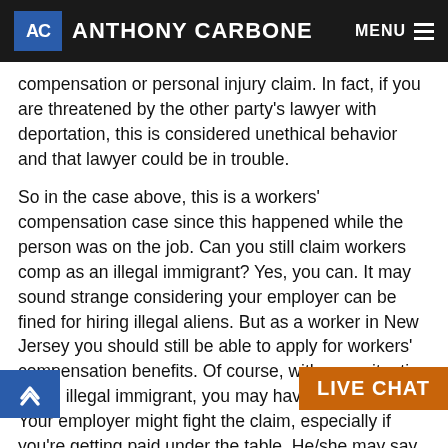ANTHONY CARBONE
compensation or personal injury claim. In fact, if you are threatened by the other party's lawyer with deportation, this is considered unethical behavior and that lawyer could be in trouble.
So in the case above, this is a workers' compensation case since this happened while the person was on the job. Can you still claim workers comp as an illegal immigrant? Yes, you can. It may sound strange considering your employer can be fined for hiring illegal aliens. But as a worker in New Jersey you should still be able to apply for workers' compensation benefits. Of course, with your situation as an illegal immigrant, you may have some trouble. Your employer might fight the claim, especially if you're getting paid under the table. He/she may say you're not a real employee. That's why you should hire an experienced workers compensation attorney to help you with your claim and make sure you get the compensation that you deserve.
If you are injured in a slip and fall accident while at work